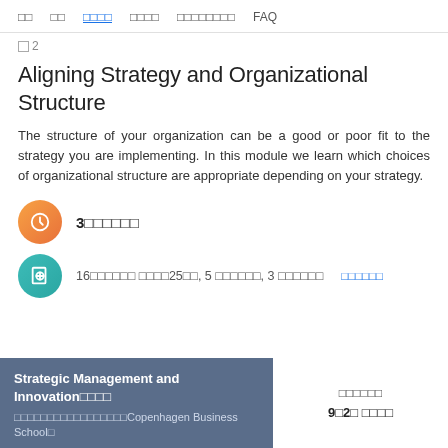□□  □□  □□□□  □□□□  □□□□□□□□  FAQ
□ 2
Aligning Strategy and Organizational Structure
The structure of your organization can be a good or poor fit to the strategy you are implementing. In this module we learn which choices of organizational structure are appropriate depending on your strategy.
3□□□□□□
16□□□□□□ □□□□25□□, 5 □□□□□□, 3 □□□□□□  □□□□□□
Strategic Management and Innovation□□□□
□□□□□□□□□□□□□□□□□Copenhagen Business School□
□□□□□□
9□2□ □□□□